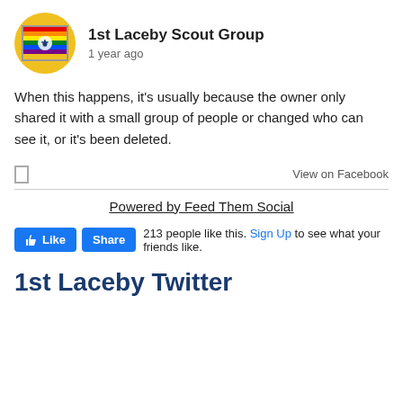[Figure (logo): 1st Laceby Scout Group avatar: rainbow-striped flag with fleur-de-lis, yellow circular background]
1st Laceby Scout Group
1 year ago
When this happens, it's usually because the owner only shared it with a small group of people or changed who can see it, or it's been deleted.
View on Facebook
Powered by Feed Them Social
213 people like this. Sign Up to see what your friends like.
1st Laceby Twitter